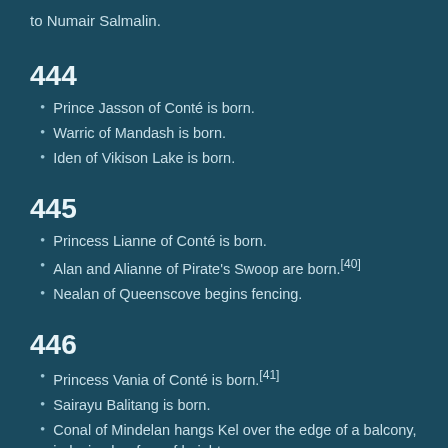to Numair Salmalin.
444
Prince Jasson of Conté is born.
Warric of Mandash is born.
Iden of Vikison Lake is born.
445
Princess Lianne of Conté is born.
Alan and Alianne of Pirate's Swoop are born.[40]
Nealan of Queenscove begins fencing.
446
Princess Vania of Conté is born.[41]
Sairayu Balitang is born.
Conal of Mindelan hangs Kel over the edge of a balcony, inducing her fear of heights.
Baron Piers of Mindelan and his family go to the Yamani Islands, representing the crown.